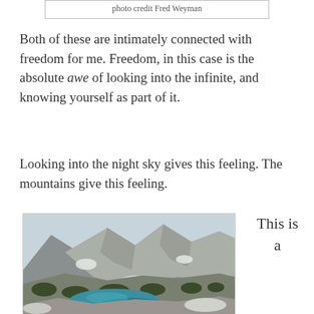photo credit Fred Weyman
Both of these are intimately connected with freedom for me. Freedom, in this case is the absolute awe of looking into the infinite, and knowing yourself as part of it.
Looking into the night sky gives this feeling. The mountains give this feeling.
[Figure (photo): Aerial photograph of a mountain landscape with a turquoise lake surrounded by rocky alpine terrain and sparse conifer trees with snow patches.]
This is a